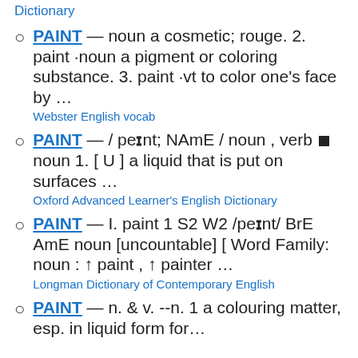Dictionary
PAINT — noun a cosmetic; rouge. 2. paint ·noun a pigment or coloring substance. 3. paint ·vt to color one's face by … Webster English vocab
PAINT — / peɪnt; NAmE / noun , verb ■ noun 1. [ U ] a liquid that is put on surfaces … Oxford Advanced Learner's English Dictionary
PAINT — I. paint 1 S2 W2 /peɪnt/ BrE AmE noun [uncountable] [ Word Family: noun : ↑ paint , ↑ painter … Longman Dictionary of Contemporary English
PAINT — n. & v. --n. 1 a colouring matter, esp. in liquid form for…